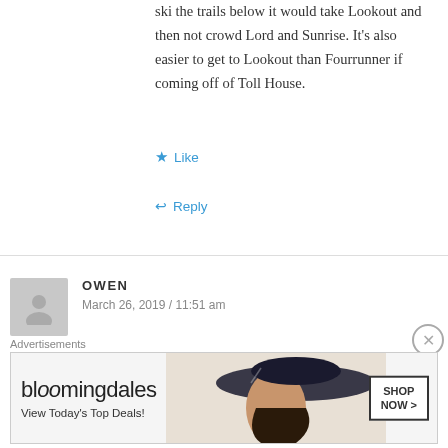ski the trails below it would take Lookout and then not crowd Lord and Sunrise. It's also easier to get to Lookout than Fourrunner if coming off of Toll House.
Like
Reply
OWEN
March 26, 2019 / 11:51 am
At Breck I'd rather see 6 or E get and upgrade. Both serve much more interesting terrain and everything that C serves is also served by two HSQs already.
Advertisements
[Figure (other): Bloomingdale's advertisement banner with logo, tagline 'View Today's Top Deals!' and 'SHOP NOW >' button]